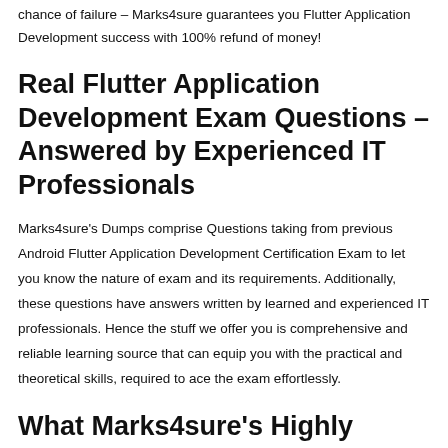chance of failure – Marks4sure guarantees you Flutter Application Development success with 100% refund of money!
Real Flutter Application Development Exam Questions – Answered by Experienced IT Professionals
Marks4sure's Dumps comprise Questions taking from previous Android Flutter Application Development Certification Exam to let you know the nature of exam and its requirements. Additionally, these questions have answers written by learned and experienced IT professionals. Hence the stuff we offer you is comprehensive and reliable learning source that can equip you with the practical and theoretical skills, required to ace the exam effortlessly.
What Marks4sure's Highly Valued